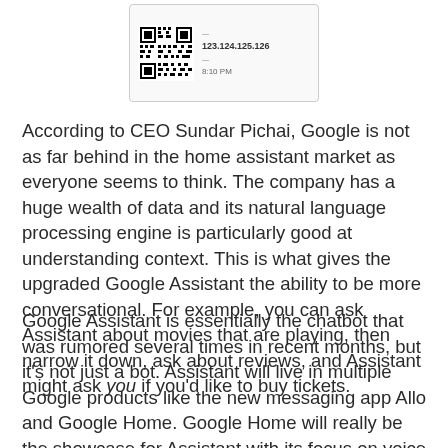[Figure (screenshot): Screenshot of a chat message showing a QR code, IP addresses 123.124.125.126, and timestamp 8:10 PM]
According to CEO Sundar Pichai, Google is not as far behind in the home assistant market as everyone seems to think. The company has a huge wealth of data and its natural language processing engine is particularly good at understanding context. This is what gives the upgraded Google Assistant the ability to be more conversational. For example, you can ask Assistant about movies that are playing, then narrow it down, ask about reviews, and Assistant might ask you if you'd like to buy tickets.
Google Assistant is essentially the chatbot that was rumored several times in recent months, but it's not just a bot. Assistant will live in multiple Google products like the new messaging app Allo and Google Home. Google Home will really be the showcase for Assistant with its focus on voice interaction.